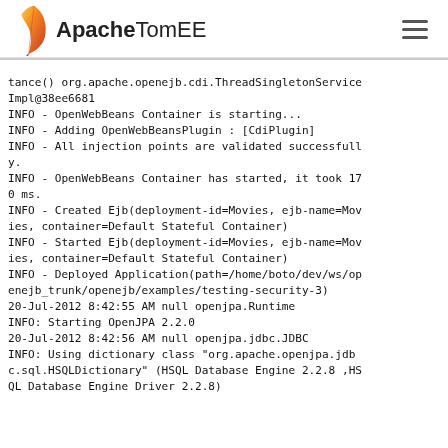Apache TomEE
tance() org.apache.openejb.cdi.ThreadSingletonServiceImpl@38ee6681
INFO - OpenWebBeans Container is starting...
INFO - Adding OpenWebBeansPlugin : [CdiPlugin]
INFO - All injection points are validated successfully.
INFO - OpenWebBeans Container has started, it took 170 ms.
INFO - Created Ejb(deployment-id=Movies, ejb-name=Movies, container=Default Stateful Container)
INFO - Started Ejb(deployment-id=Movies, ejb-name=Movies, container=Default Stateful Container)
INFO - Deployed Application(path=/home/boto/dev/ws/openejb_trunk/openejb/examples/testing-security-3)
20-Jul-2012 8:42:55 AM null openjpa.Runtime
INFO: Starting OpenJPA 2.2.0
20-Jul-2012 8:42:56 AM null openjpa.jdbc.JDBC
INFO: Using dictionary class "org.apache.openjpa.jdbc.sql.HSQLDictionary" (HSQL Database Engine 2.2.8 ,HSQL Database Engine Driver 2.2.8)